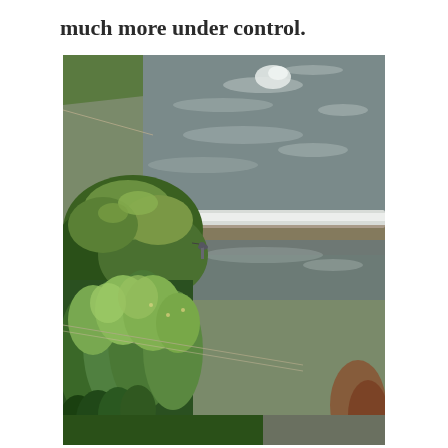much more under control.
[Figure (photo): Photograph of a river weir with flowing water cascading over a low concrete step. A heron stands at the water's edge near green vegetation and bushes on the river bank. The left bank is lush with tall green plants and grasses. Metal railings or pipes are visible along the left embankment.]